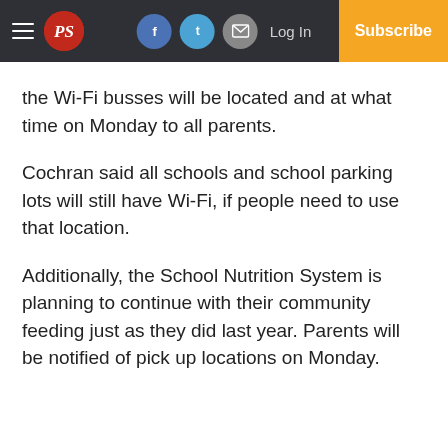PS [logo] | Facebook | Twitter | Email | Log In | Subscribe
the Wi-Fi busses will be located and at what time on Monday to all parents.
Cochran said all schools and school parking lots will still have Wi-Fi, if people need to use that location.
Additionally, the School Nutrition System is planning to continue with their community feeding just as they did last year. Parents will be notified of pick up locations on Monday.